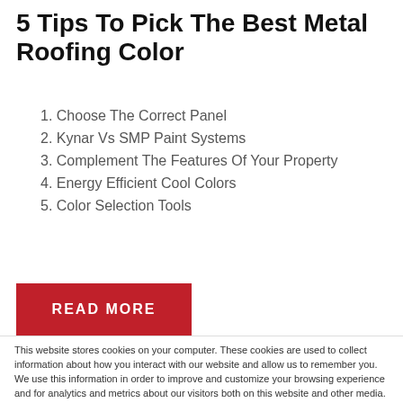5 Tips To Pick The Best Metal Roofing Color
1. Choose The Correct Panel
2. Kynar Vs SMP Paint Systems
3. Complement The Features Of Your Property
4. Energy Efficient Cool Colors
5. Color Selection Tools
READ MORE
This website stores cookies on your computer. These cookies are used to collect information about how you interact with our website and allow us to remember you. We use this information in order to improve and customize your browsing experience and for analytics and metrics about our visitors both on this website and other media. To find out more about the cookies we use, see our Privacy Policy.
Accept
Don't ask me again